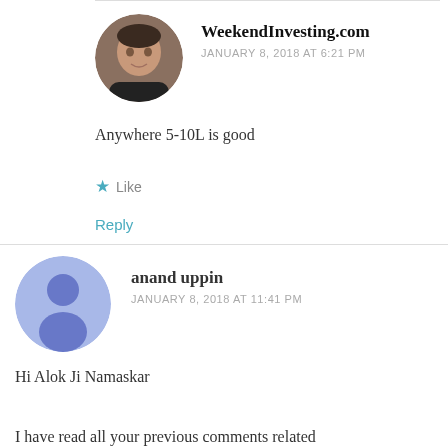[Figure (photo): Round avatar photo of a middle-aged man]
WeekendInvesting.com
JANUARY 8, 2018 AT 6:21 PM
Anywhere 5-10L is good
Like
Reply
[Figure (illustration): Generic blue user avatar icon]
anand uppin
JANUARY 8, 2018 AT 11:41 PM
Hi Alok Ji Namaskar
I have read all your previous comments related